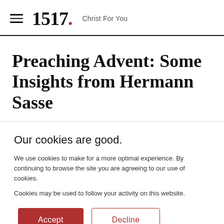1517. Christ For You
Preaching Advent: Some Insights from Hermann Sasse
Our cookies are good.
We use cookies to make for a more optimal experience. By continuing to browse the site you are agreeing to our use of cookies.
Cookies may be used to follow your activity on this website.
Accept  Decline